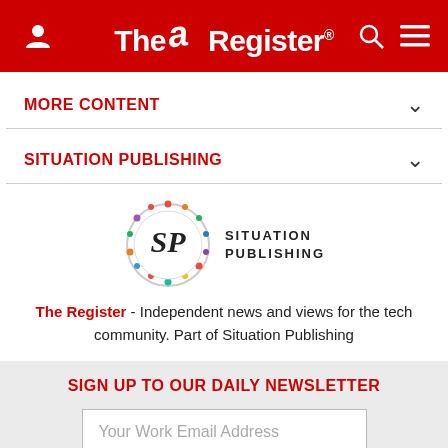The Register
MORE CONTENT
SITUATION PUBLISHING
[Figure (logo): Situation Publishing logo: a circular badge with stylized SP monogram and colorful border, accompanied by text SITUATION PUBLISHING]
The Register - Independent news and views for the tech community. Part of Situation Publishing
SIGN UP TO OUR DAILY NEWSLETTER
Your Work Email Address
SUBSCRIBE
[Figure (illustration): Row of red social media icons: Twitter/X, Facebook, LinkedIn, RSS feed — partially visible at bottom of page]